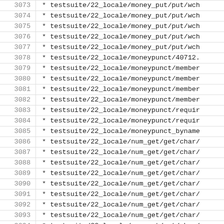3073  * testsuite/22_locale/money_put/put/wch
3074  * testsuite/22_locale/money_put/put/wch
3075  * testsuite/22_locale/money_put/put/wch
3076  * testsuite/22_locale/money_put/put/wch
3077  * testsuite/22_locale/money_put/put/wch
3078  * testsuite/22_locale/moneypunct/40712.
3079  * testsuite/22_locale/moneypunct/member
3080  * testsuite/22_locale/moneypunct/member
3081  * testsuite/22_locale/moneypunct/member
3082  * testsuite/22_locale/moneypunct/member
3083  * testsuite/22_locale/moneypunct/requir
3084  * testsuite/22_locale/moneypunct/requir
3085  * testsuite/22_locale/moneypunct_byname
3086  * testsuite/22_locale/num_get/get/char/
3087  * testsuite/22_locale/num_get/get/char/
3088  * testsuite/22_locale/num_get/get/char/
3089  * testsuite/22_locale/num_get/get/char/
3090  * testsuite/22_locale/num_get/get/char/
3091  * testsuite/22_locale/num_get/get/char/
3092  * testsuite/22_locale/num_get/get/char/
3093  * testsuite/22_locale/num_get/get/char/
3094  * testsuite/22_locale/num_get/get/char/